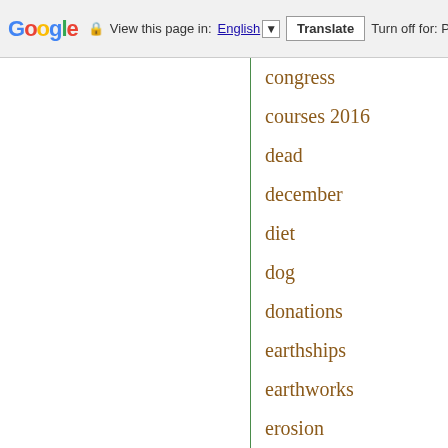Google  View this page in: English  Translate  Turn off for: P
congress
courses 2016
dead
december
diet
dog
donations
earthships
earthworks
erosion
ethics
garbage